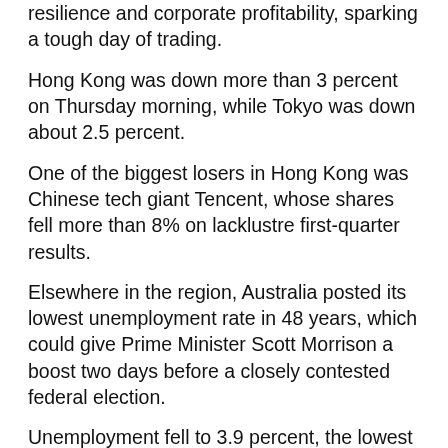resilience and corporate profitability, sparking a tough day of trading.
Hong Kong was down more than 3 percent on Thursday morning, while Tokyo was down about 2.5 percent.
One of the biggest losers in Hong Kong was Chinese tech giant Tencent, whose shares fell more than 8% on lacklustre first-quarter results.
Elsewhere in the region, Australia posted its lowest unemployment rate in 48 years, which could give Prime Minister Scott Morrison a boost two days before a closely contested federal election.
Unemployment fell to 3.9 percent, the lowest level since 1974, the official statistics agency said.
But shares in Sydney remained down, as did those in Singapore, Shanghai, Seoul and Taipei, although Jakarta shares rose more than 2%.